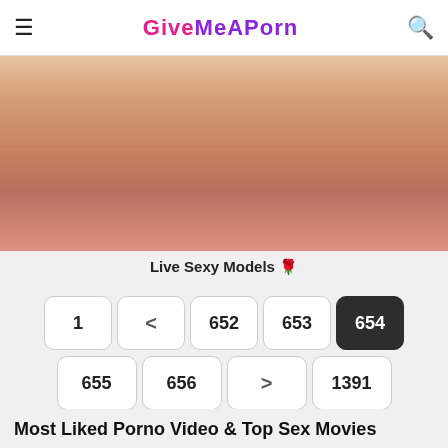GiveMeAPorn
[Figure (photo): Close-up adult content image - skin tones with hands]
Live Sexy Models 🌹
Pagination: 1, <, 652, 653, 654 (active), 655, 656, >, 1391
Most Liked Porno Video & Top Sex Movies